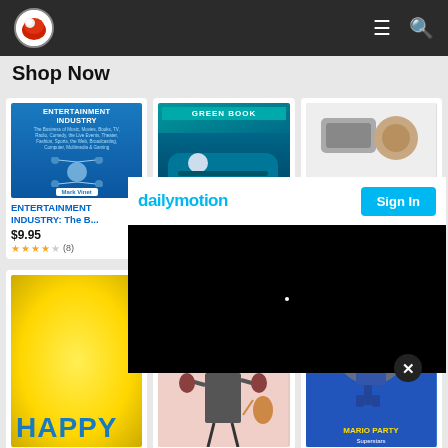Navigation bar with logo, menu, and search icons
Shop Now
[Figure (screenshot): Book cover: ENTERTAINMENT INDUSTRY by Mark Vinet, blue background with diagram]
ENTERTAINMENT INDUSTRY: The B...
$9.95
★★★★☆ (8)
[Figure (screenshot): Movie cover: Green Book, teal background with car]
Green Boo...
$3.99
★★★★★ (28507)
[Figure (screenshot): Portable Foldable product, partially obscured]
Portable Foldabl...
$115.99 ✓prime
★★★★☆ (3687)
[Figure (screenshot): Dailymotion overlay with Sign In button and black video area]
[Figure (screenshot): HAPPY yellow poster with blue text]
[Figure (screenshot): Mrs. Harris Goes to Paris movie poster]
[Figure (screenshot): Mario Party Superstars Nintendo Switch game cover]